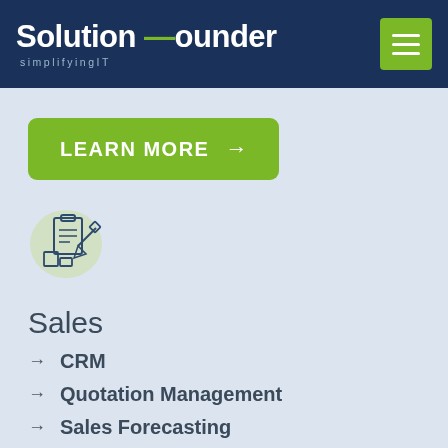Solution Founder — simplifyingIT
[Figure (illustration): Green button with text LEARN MORE and right arrow]
[Figure (illustration): Sales/inventory icon with clipboard and boxes on light green circular background]
Sales
→ CRM
→ Quotation Management
→ Sales Forecasting
→ Sales Orders